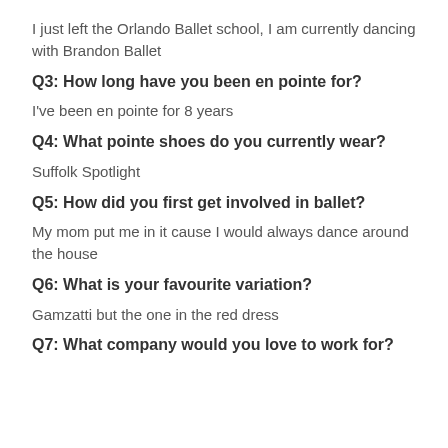I just left the Orlando Ballet school, I am currently dancing with Brandon Ballet
Q3: How long have you been en pointe for?
I've been en pointe for 8 years
Q4: What pointe shoes do you currently wear?
Suffolk Spotlight
Q5: How did you first get involved in ballet?
My mom put me in it cause I would always dance around the house
Q6: What is your favourite variation?
Gamzatti but the one in the red dress
Q7: What company would you love to work for?